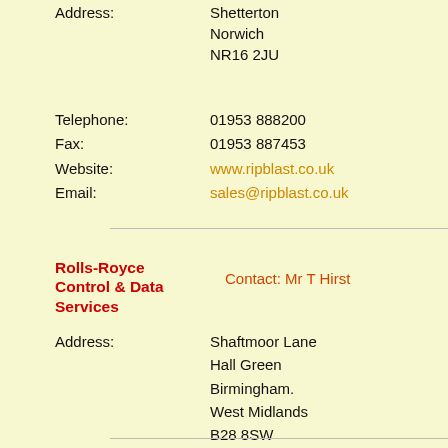Address: Shetterton Norwich NR16 2JU
Telephone: 01953 888200
Fax: 01953 887453
Website: www.ripblast.co.uk
Email: sales@ripblast.co.uk
Rolls-Royce Control & Data Services
Contact: Mr T Hirst
Address: Shaftmoor Lane Hall Green Birmingham. West Midlands B28 8SW
Telephone: 0121 707 7111
Fax: 0121 708 0232